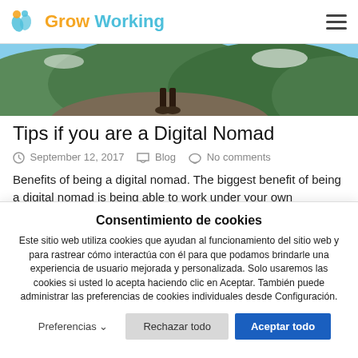Grow Working
[Figure (photo): Person standing on a rocky cliff overlooking a vast green mountainous landscape]
Tips if you are a Digital Nomad
September 12, 2017  Blog  No comments
Benefits of being a digital nomad. The biggest benefit of being a digital nomad is being able to work under your own conditions...
Consentimiento de cookies
Este sitio web utiliza cookies que ayudan al funcionamiento del sitio web y para rastrear cómo interactúa con él para que podamos brindarle una experiencia de usuario mejorada y personalizada. Solo usaremos las cookies si usted lo acepta haciendo clic en Aceptar. También puede administrar las preferencias de cookies individuales desde Configuración.
Preferencias  Rechazar todo  Aceptar todo